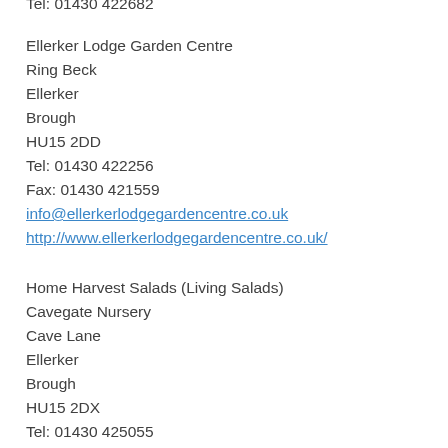Tel: 01430 422682
Ellerker Lodge Garden Centre
Ring Beck
Ellerker
Brough
HU15 2DD
Tel: 01430 422256
Fax: 01430 421559
info@ellerkerlodgegardencentre.co.uk
http://www.ellerkerlodgegardencentre.co.uk/
Home Harvest Salads (Living Salads)
Cavegate Nursery
Cave Lane
Ellerker
Brough
HU15 2DX
Tel: 01430 425055